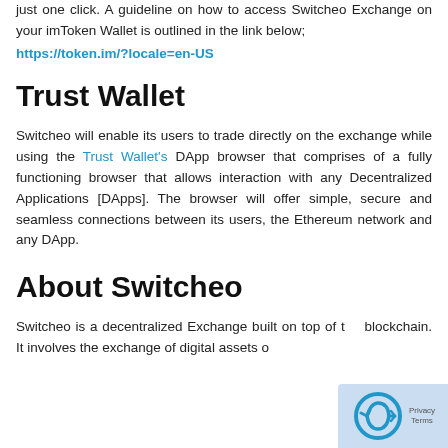just one click. A guideline on how to access Switcheo Exchange on your imToken Wallet is outlined in the link below;
https://token.im/?locale=en-US
Trust Wallet
Switcheo will enable its users to trade directly on the exchange while using the Trust Wallet's DApp browser that comprises of a fully functioning browser that allows interaction with any Decentralized Applications [DApps]. The browser will offer simple, secure and seamless connections between its users, the Ethereum network and any DApp.
About Switcheo
Switcheo is a decentralized Exchange built on top of the blockchain. It involves the exchange of digital assets o...